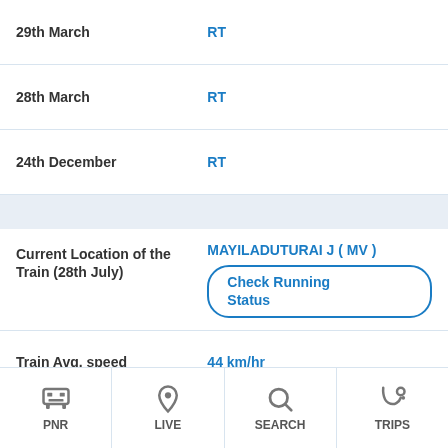|  |  |
| --- | --- |
| 29th March | RT |
| 28th March | RT |
| 24th December | RT |
|  |  |
| --- | --- |
| Current Location of the Train (28th July) | MAYILADUTURAI J ( MV ) / Check Running Status |
| Train Avg. speed | 44 km/hr |
| Journey Distance | 214Km. |
| Train Travel Time | 4 Hr 55 Min. |
| Type of Train | PASSENGER (PAS) |
| Train Running schedule | Daily (All Days) |
PNR  LIVE  SEARCH  TRIPS